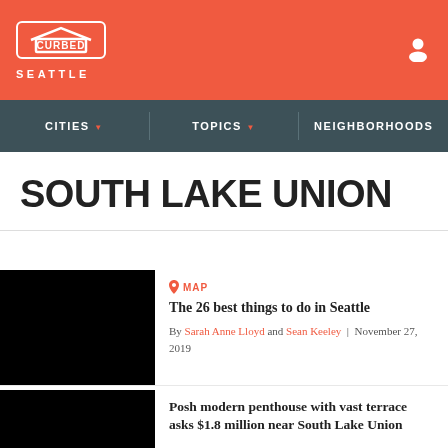CURBED SEATTLE
CITIES | TOPICS | NEIGHBORHOODS
SOUTH LAKE UNION
MAP
The 26 best things to do in Seattle
By Sarah Anne Lloyd and Sean Keeley | November 27, 2019
Posh modern penthouse with vast terrace asks $1.8 million near South Lake Union